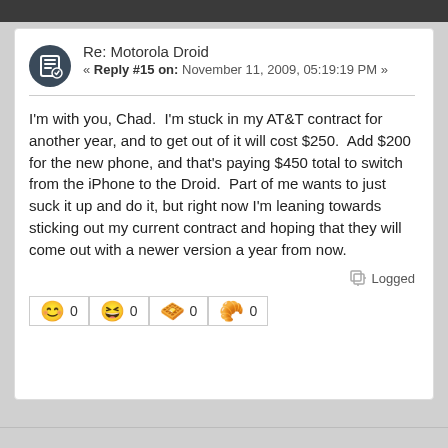Re: Motorola Droid
« Reply #15 on: November 11, 2009, 05:19:19 PM »
I'm with you, Chad.  I'm stuck in my AT&T contract for another year, and to get out of it will cost $250.  Add $200 for the new phone, and that's paying $450 total to switch from the iPhone to the Droid.  Part of me wants to just suck it up and do it, but right now I'm leaning towards sticking out my current contract and hoping that they will come out with a newer version a year from now.
Logged
😊 0   😆 0   🧇 0   🥐 0